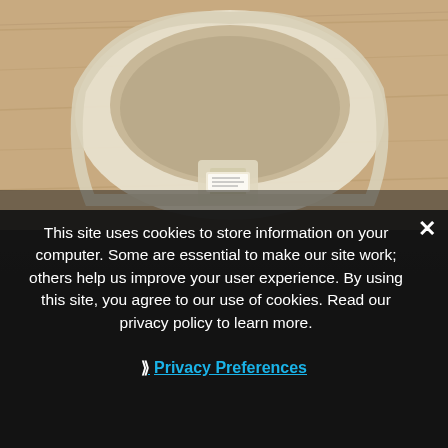[Figure (photo): Close-up photo of the inside of a white/cream sneaker shoe collar showing the heel tab, textile lining, and a care label, placed on a wooden floor surface. Dark shoe sole visible at bottom.]
This site uses cookies to store information on your computer. Some are essential to make our site work; others help us improve your user experience. By using this site, you agree to our use of cookies. Read our privacy policy to learn more.
❯ Privacy Preferences
I Agree